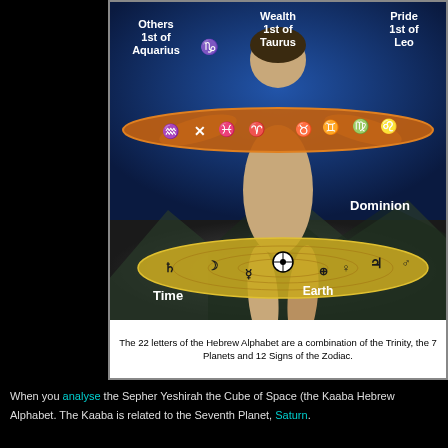[Figure (illustration): A painting of Atlas/cosmic man holding a large orange zodiac disk (ecliptic belt) with zodiac symbols and labels: 'Others 1st of Aquarius', 'Wealth 1st of Taurus', 'Pride 1st of Leo'. Below is a yellow planetary disk with planet symbols and labels: 'Dominion', 'Time', 'Earth'. The background is a deep blue cosmic/ocean scene.]
The 22 letters of the Hebrew Alphabet are a combination of the Trinity, the 7 Planets and 12 Signs of the Zodiac.
When you analyse the Sepher Yeshirah the Cube of Space (the Kaaba Hebrew Alphabet. The Kaaba is related to the Seventh Planet, Saturn.